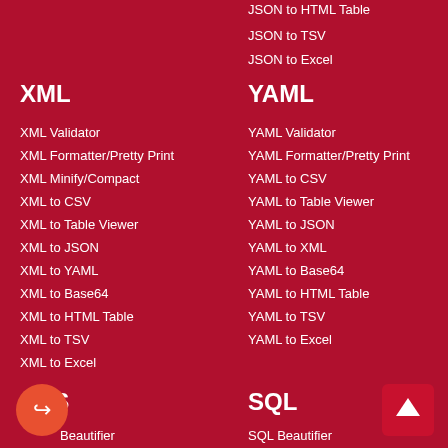JSON to HTML Table
JSON to TSV
JSON to Excel
XML
XML Validator
XML Formatter/Pretty Print
XML Minify/Compact
XML to CSV
XML to Table Viewer
XML to JSON
XML to YAML
XML to Base64
XML to HTML Table
XML to TSV
XML to Excel
CSS
CSS Beautifier
YAML
YAML Validator
YAML Formatter/Pretty Print
YAML to CSV
YAML to Table Viewer
YAML to JSON
YAML to XML
YAML to Base64
YAML to HTML Table
YAML to TSV
YAML to Excel
SQL
SQL Beautifier